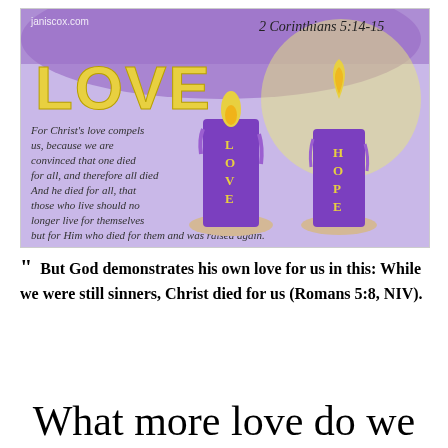[Figure (illustration): Hand-drawn illustration showing two purple candles labeled LOVE and HOPE with flames, on a purple watercolor background. Left side shows handwritten text of 2 Corinthians 5:14-15 scripture. Top left watermark reads janiscox.com. Top right reads '2 Corinthians 5:14-15'. Large yellow letters spell LOVE on the left. The candles have letters spelling LOVE and HOPE vertically.]
" But God demonstrates his own love for us in this: While we were still sinners, Christ died for us (Romans 5:8, NIV).
What more love do we